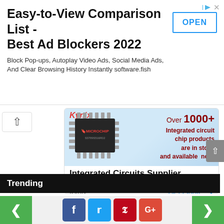Easy-to-View Comparison List - Best Ad Blockers 2022
Block Pop-ups, Autoplay Video Ads, Social Media Ads, And Clear Browsing History Instantly software.fish
[Figure (advertisement): Kynix advertisement showing a Microchip integrated circuit chip with text: Over 1000+ Integrated circuit chip products are in stock and available now. Integrated Circuits Supplier. Kynix. Get Quote >]
Trending